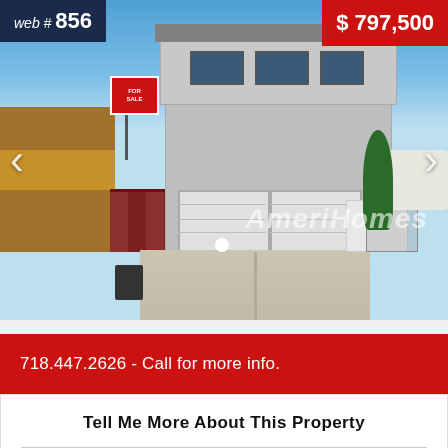[Figure (photo): Exterior photo of a two-story house with double garages, concrete driveway, brick wall, and For Sale sign. Photo slideshow with navigation arrows and AmeriHomes watermark.]
web # 856
$ 797,500
AmeriHomes
718.447.2626 - Call for more info.
Tell Me More About This Property